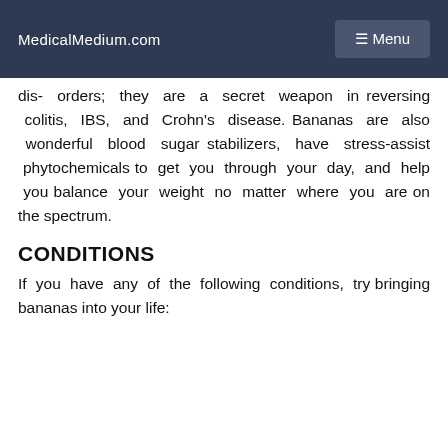MedicalMedium.com  ☰ Menu
dis- orders; they are a secret weapon in reversing colitis, IBS, and Crohn's disease. Bananas are also wonderful blood sugar stabilizers, have stress-assist phytochemicals to get you through your day, and help you balance your weight no matter where you are on the spectrum.
CONDITIONS
If you have any of the following conditions, try bringing bananas into your life: